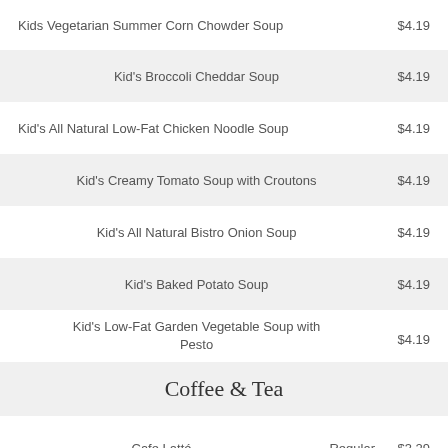Kids Vegetarian Summer Corn Chowder Soup   $4.19
Kid's Broccoli Cheddar Soup   $4.19
Kid's All Natural Low-Fat Chicken Noodle Soup   $4.19
Kid's Creamy Tomato Soup with Croutons   $4.19
Kid's All Natural Bistro Onion Soup   $4.19
Kid's Baked Potato Soup   $4.19
Kid's Low-Fat Garden Vegetable Soup with Pesto   $4.19
Coffee & Tea
Cafe Latté   Regular   $3.29
Cafe Latté   Large   $4.04
Skinny Cafe Mocha   Regular   $3.79
Skinny Cafe Mocha   Large   $4.54